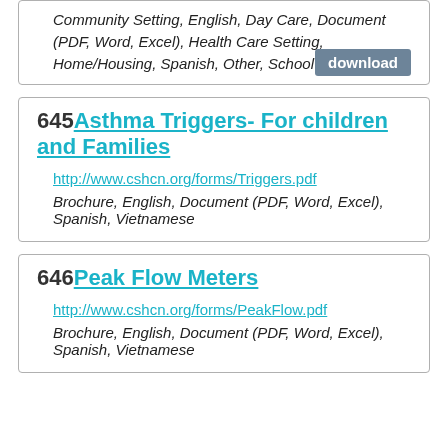Community Setting, English, Day Care, Document (PDF, Word, Excel), Health Care Setting, Home/Housing, Spanish, Other, School
645 Asthma Triggers- For children and Families
http://www.cshcn.org/forms/Triggers.pdf
Brochure, English, Document (PDF, Word, Excel), Spanish, Vietnamese
646 Peak Flow Meters
http://www.cshcn.org/forms/PeakFlow.pdf
Brochure, English, Document (PDF, Word, Excel), Spanish, Vietnamese